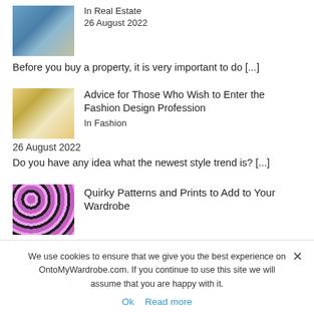[Figure (photo): Aerial view of real estate / houses from above]
In Real Estate
26 August 2022
Before you buy a property, it is very important to do [...]
[Figure (photo): Person working on fashion design with clipboard and papers]
Advice for Those Who Wish to Enter the Fashion Design Profession
In Fashion
26 August 2022
Do you have any idea what the newest style trend is? [...]
[Figure (photo): Pink and purple leopard print fabric pattern]
Quirky Patterns and Prints to Add to Your Wardrobe
We use cookies to ensure that we give you the best experience on OntoMyWardrobe.com. If you continue to use this site we will assume that you are happy with it.
Ok   Read more